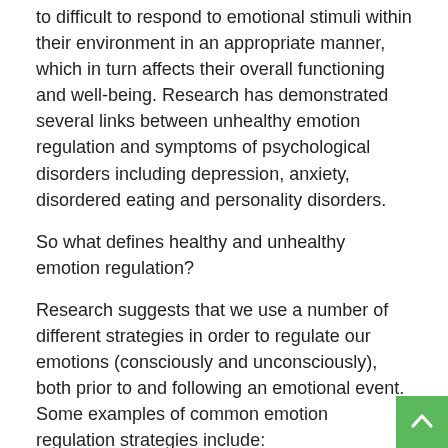to difficult to respond to emotional stimuli within their environment in an appropriate manner, which in turn affects their overall functioning and well-being. Research has demonstrated several links between unhealthy emotion regulation and symptoms of psychological disorders including depression, anxiety, disordered eating and personality disorders.
So what defines healthy and unhealthy emotion regulation?
Research suggests that we use a number of different strategies in order to regulate our emotions (consciously and unconsciously), both prior to and following an emotional event. Some examples of common emotion regulation strategies include:
Cognitive reappraisal: refers to the act of recognizing the pattern your thoughts have fallen into and changing that pattern to reduce the intensity of that emotion. For example: You miss the bus, which ends up making you late for work. Your first response may be to become frustrated, recognising the situation...